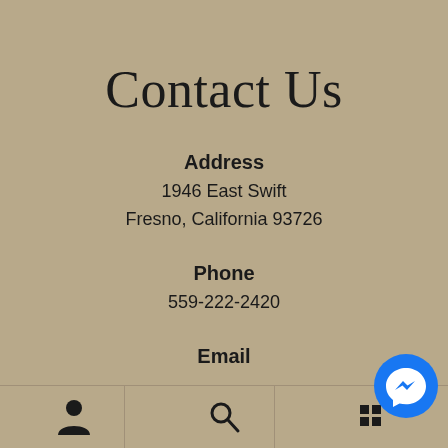Contact Us
Address
1946 East Swift
Fresno, California 93726
Phone
559-222-2420
Email
[Figure (infographic): Bottom navigation bar with user profile icon, search icon, and a partially visible third icon. Also shows a blue Facebook Messenger chat bubble in the bottom right corner.]